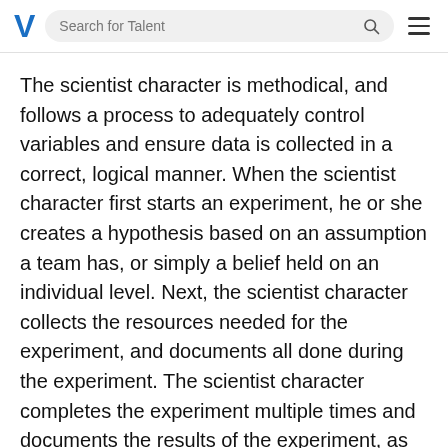V  Search for Talent
The scientist character is methodical, and follows a process to adequately control variables and ensure data is collected in a correct, logical manner. When the scientist character first starts an experiment, he or she creates a hypothesis based on an assumption a team has, or simply a belief held on an individual level. Next, the scientist character collects the resources needed for the experiment, and documents all done during the experiment. The scientist character completes the experiment multiple times and documents the results of the experiment, as well as all that happened during the experiment. The scientist is very detailed, and presents his or her conclusion to the appropriate